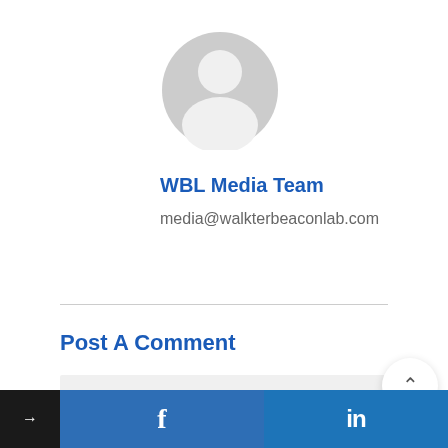[Figure (illustration): Generic user avatar silhouette — a circular grey icon with a person silhouette inside, representing a default profile picture.]
WBL Media Team
media@walkterbeaconlab.com
Post A Comment
Write your comment here...
→  f  in